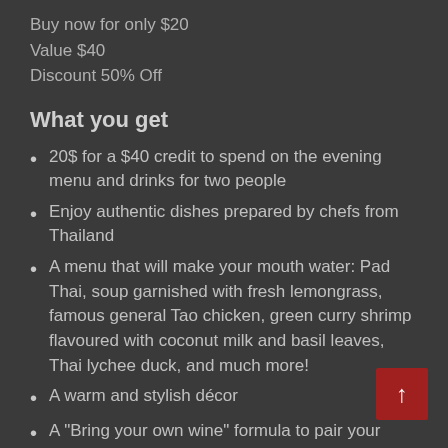Buy now for only $20
Value $40
Discount 50% Off
What you get
20$ for a $40 credit to spend on the evening menu and drinks for two people
Enjoy authentic dishes prepared by chefs from Thailand
A menu that will make your mouth water: Pad Thai, soup garnished with fresh lemongrass, famous general Tao chicken, green curry shrimp flavoured with coconut milk and basil leaves, Thai lychee duck, and much more!
A warm and stylish décor
A "Bring your own wine" formula to pair your meal with your favourite wine!
Ideally located in the heart of the lively Plateau,